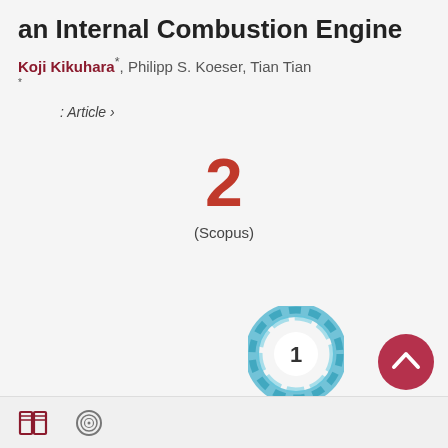an Internal Combustion Engine
Koji Kikuhara*, Philipp S. Koeser, Tian Tian
*
: Article ›
2
(Scopus)
[Figure (other): Plum Analytics widget showing citation count badge with the number 1 in a teal circular ring logo]
[Figure (other): Scroll to top button — dark red/pink circle with upward chevron arrow]